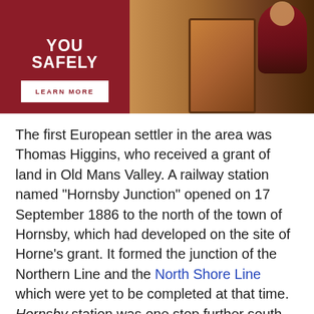[Figure (photo): Advertisement banner showing dark red/maroon left panel with text 'YOU SAFELY' and a 'LEARN MORE' button, and right panel showing a person in red shirt carrying a large wooden cabinet/chest]
The first European settler in the area was Thomas Higgins, who received a grant of land in Old Mans Valley. A railway station named "Hornsby Junction" opened on 17 September 1886 to the north of the town of Hornsby, which had developed on the site of Horne's grant. It formed the junction of the Northern Line and the North Shore Line which were yet to be completed at that time. Hornsby station was one stop further south on the Northern Line. Due to confusion by commuters alighting at the incorrect station expecting to transfer to a connecting train, the old Hornsby station was renamed Normanhurst on 17 November 1886, after a prominent local artist and...